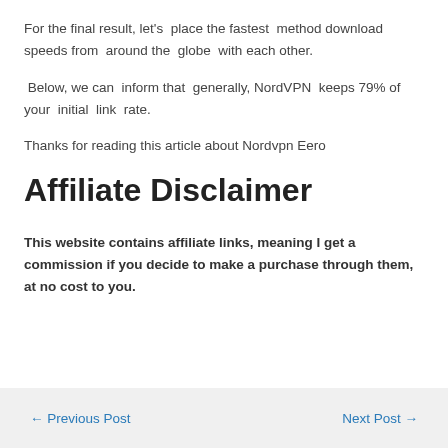For the final result, let's  place the fastest  method download speeds from  around the  globe  with each other.
Below, we can  inform that  generally, NordVPN  keeps 79% of your  initial  link  rate.
Thanks for reading this article about Nordvpn Eero
Affiliate Disclaimer
This website contains affiliate links, meaning I get a commission if you decide to make a purchase through them, at no cost to you.
← Previous Post    Next Post →